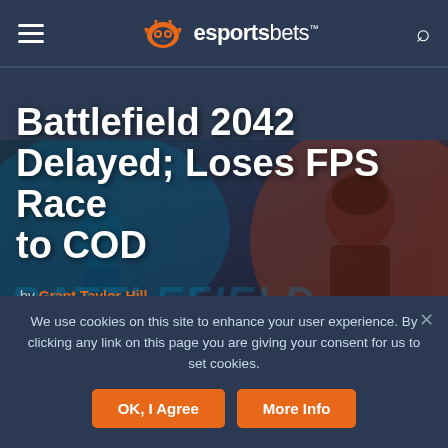esportsbets
[Figure (screenshot): Battlefield 2042 game promotional image — dark blue and red toned background with soldier/character silhouettes and the Battlefield watermark text]
Battlefield 2042 Delayed; Loses FPS Race to COD
by Grant Taylor-Hill
Posted on September 16, 2021
We use cookies on this site to enhance your user experience. By clicking any link on this page you are giving your consent for us to set cookies.